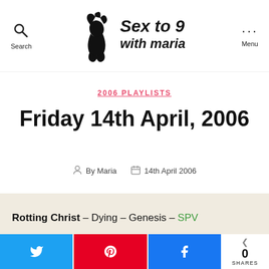Sex to 9 with Maria — Search | Menu
2006 PLAYLISTS
Friday 14th April, 2006
By Maria — 14th April 2006
Rotting Christ – Dying – Genesis – SPV